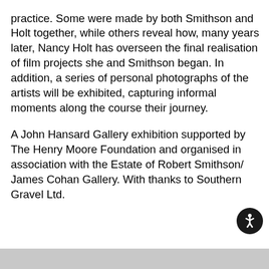practice. Some were made by both Smithson and Holt together, while others reveal how, many years later, Nancy Holt has overseen the final realisation of film projects she and Smithson began. In addition, a series of personal photographs of the artists will be exhibited, capturing informal moments along the course their journey.
A John Hansard Gallery exhibition supported by The Henry Moore Foundation and organised in association with the Estate of Robert Smithson/ James Cohan Gallery. With thanks to Southern Gravel Ltd.
[Figure (other): Accessibility icon button (circular dark button with person/wheelchair symbol)]
[Figure (other): Gray bar at bottom of page]